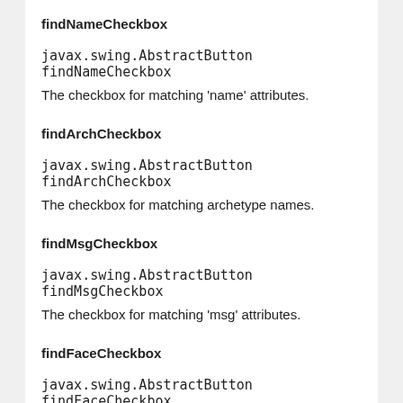findNameCheckbox
javax.swing.AbstractButton findNameCheckbox
The checkbox for matching 'name' attributes.
findArchCheckbox
javax.swing.AbstractButton findArchCheckbox
The checkbox for matching archetype names.
findMsgCheckbox
javax.swing.AbstractButton findMsgCheckbox
The checkbox for matching 'msg' attributes.
findFaceCheckbox
javax.swing.AbstractButton findFaceCheckbox